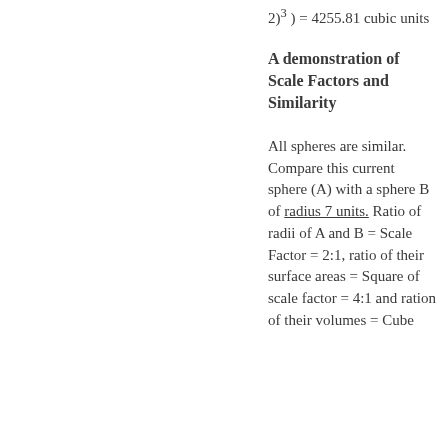2)³ ) = 4255.81 cubic units
A demonstration of Scale Factors and Similarity
All spheres are similar. Compare this current sphere (A) with a sphere B of radius 7 units. Ratio of radii of A and B = Scale Factor = 2:1, ratio of their surface areas = Square of scale factor = 4:1 and ration of their volumes = Cube